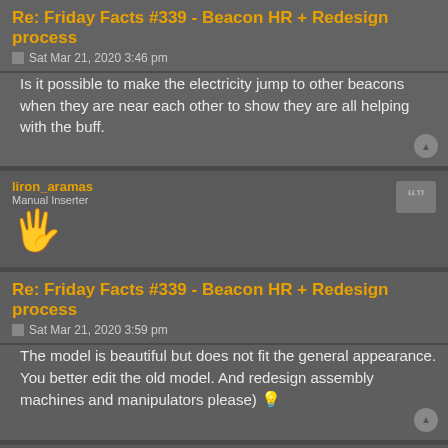Re: Friday Facts #339 - Beacon HR + Redesign process
Sat Mar 21, 2020 3:46 pm
Is it possible to make the electricity jump to other beacons when they are near each other to show they are all helping with the buff.
liron_aramas
Manual Inserter
Re: Friday Facts #339 - Beacon HR + Redesign process
Sat Mar 21, 2020 3:59 pm
The model is beautiful but does not fit the general appearance. You better edit the old model. And redesign assembly machines and manipulators please) 💡
Darkehart
Burner Inserter
Re: Friday Facts #339 - Beacon HR + Redesign process